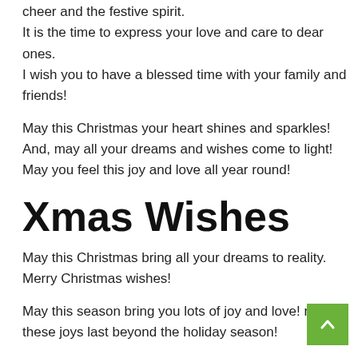cheer and the festive spirit.
It is the time to express your love and care to dear ones.
I wish you to have a blessed time with your family and friends!
May this Christmas your heart shines and sparkles!
And, may all your dreams and wishes come to light!
May you feel this joy and love all year round!
Xmas Wishes
May this Christmas bring all your dreams to reality. Merry Christmas wishes!
May this season bring you lots of joy and love! may these joys last beyond the holiday season!